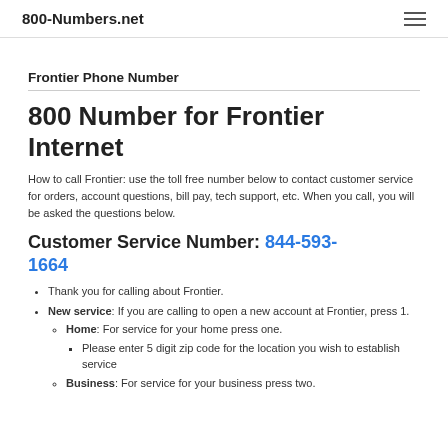800-Numbers.net
Frontier Phone Number
800 Number for Frontier Internet
How to call Frontier: use the toll free number below to contact customer service for orders, account questions, bill pay, tech support, etc. When you call, you will be asked the questions below.
Customer Service Number: 844-593-1664
Thank you for calling about Frontier.
New service: If you are calling to open a new account at Frontier, press 1.
Home: For service for your home press one.
Please enter 5 digit zip code for the location you wish to establish service
Business: For service for your business press two.